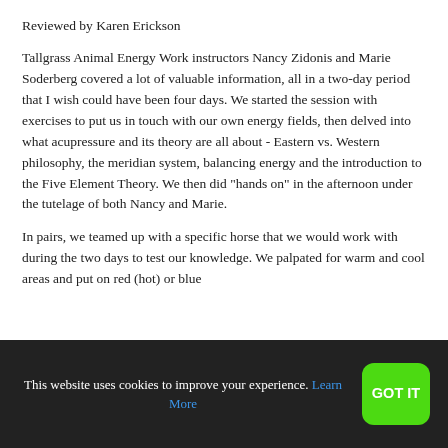Reviewed by Karen Erickson
Tallgrass Animal Energy Work instructors Nancy Zidonis and Marie Soderberg covered a lot of valuable information, all in a two-day period that I wish could have been four days. We started the session with exercises to put us in touch with our own energy fields, then delved into what acupressure and its theory are all about - Eastern vs. Western philosophy, the meridian system, balancing energy and the introduction to the Five Element Theory. We then did "hands on" in the afternoon under the tutelage of both Nancy and Marie.
In pairs, we teamed up with a specific horse that we would work with during the two days to test our knowledge. We palpated for warm and cool areas and put on red (hot) or blue
This website uses cookies to improve your experience. Learn More
GOT IT